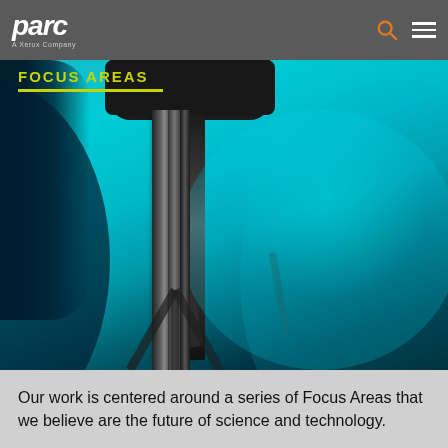parc — A Xerox Company
FOCUS AREAS
[Figure (photo): Close-up photograph of laboratory optical equipment with cyan/teal colored liquid or light on a dark background]
Our work is centered around a series of Focus Areas that we believe are the future of science and technology.